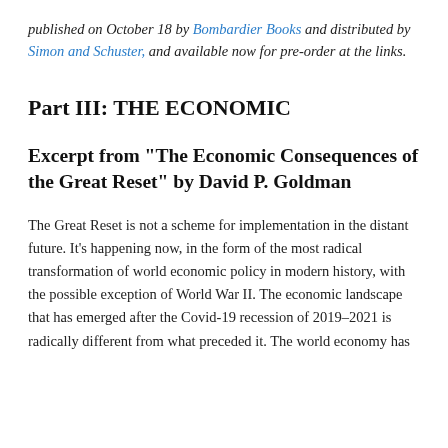published on October 18 by Bombardier Books and distributed by Simon and Schuster, and available now for pre-order at the links.
Part III: THE ECONOMIC
Excerpt from "The Economic Consequences of the Great Reset" by David P. Goldman
The Great Reset is not a scheme for implementation in the distant future. It's happening now, in the form of the most radical transformation of world economic policy in modern history, with the possible exception of World War II. The economic landscape that has emerged after the Covid-19 recession of 2019–2021 is radically different from what preceded it. The world economy has